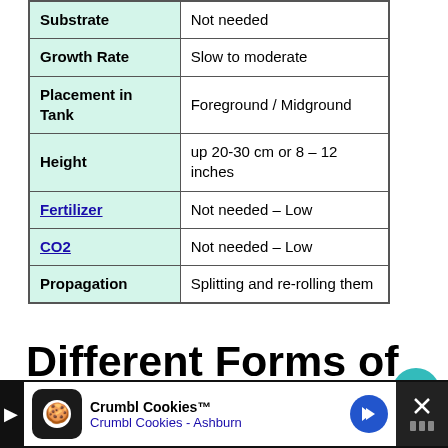| Property | Value |
| --- | --- |
| Substrate | Not needed |
| Growth Rate | Slow to moderate |
| Placement in Tank | Foreground / Midground |
| Height | up 20-30 cm or 8 – 12 inches |
| Fertilizer | Not needed – Low |
| CO2 | Not needed – Low |
| Propagation | Splitting and re-rolling them |
Different Forms of Aegagropila Linnaei
[Figure (other): Advertisement banner for Crumbl Cookies showing logo, name, location Ashburn, navigation arrow and close button]